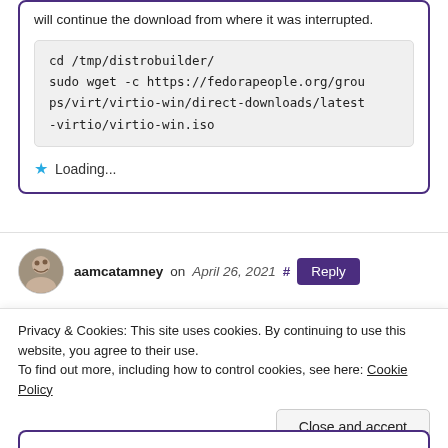will continue the download from where it was interrupted.
cd /tmp/distrobuilder/
sudo wget -c https://fedorapeople.org/groups/virt/virtio-win/direct-downloads/latest-virtio/virtio-win.iso
Loading...
aamcatamney on April 26, 2021 #
Privacy & Cookies: This site uses cookies. By continuing to use this website, you agree to their use.
To find out more, including how to control cookies, see here: Cookie Policy
Close and accept